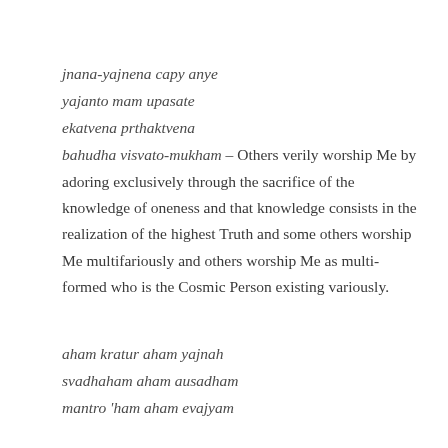jnana-yajnena capy anye yajanto mam upasate ekatvena prthaktvena bahudha visvato-mukham – Others verily worship Me by adoring exclusively through the sacrifice of the knowledge of oneness and that knowledge consists in the realization of the highest Truth and some others worship Me multifariously and others worship Me as multi-formed who is the Cosmic Person existing variously.
aham kratur aham yajnah svadhaham aham ausadham mantro 'ham aham evajyam